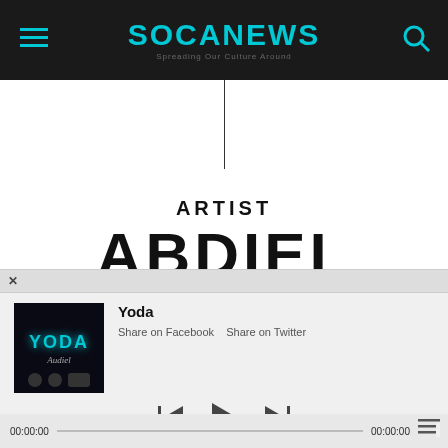SOCANEWS – Spreading Our Culture Around
ARTIST
ABDIEL
[Figure (screenshot): Music player overlay showing Yoda track by Abdiel with album art, share links, playback controls, and time display 00:00:00]
Yoda
Share on Facebook   Share on Twitter
00:00:00   00:00:00